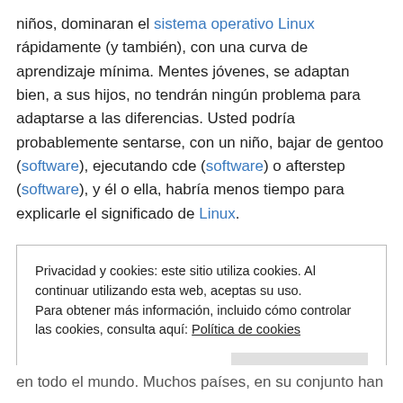niños, dominaran el sistema operativo Linux rápidamente (y también), con una curva de aprendizaje mínima. Mentes jóvenes, se adaptan bien, a sus hijos, no tendrán ningún problema para adaptarse a las diferencias. Usted podría probablemente sentarse, con un niño, bajar de gentoo (software), ejecutando cde (software) o afterstep (software), y él o ella, habría menos tiempo para explicarle el significado de Linux.
Privacidad y cookies: este sitio utiliza cookies. Al continuar utilizando esta web, aceptas su uso. Para obtener más información, incluido cómo controlar las cookies, consulta aquí: Política de cookies
en todo el mundo. Muchos países, en su conjunto han